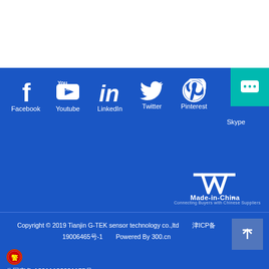[Figure (screenshot): White top area, blank]
[Figure (infographic): Social media icons row: Facebook, Youtube, LinkedIn, Twitter, Pinterest, Skype on blue background]
[Figure (logo): Made-in-China logo on blue background]
Copyright © 2019 Tianjin G-TEK sensor technology co.,ltd　　津ICP备 19006465号-1　　Powered By 300.cn
[Figure (logo): Chinese police emblem icon]
公网安备 12011102001155号